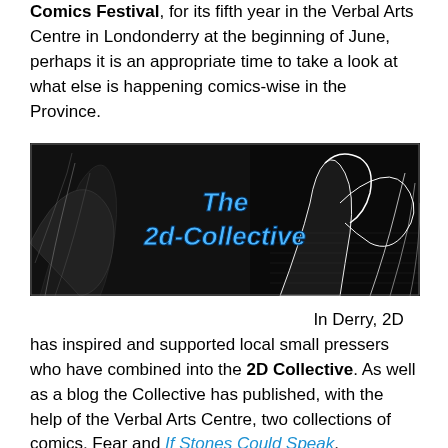Comics Festival, for its fifth year in the Verbal Arts Centre in Londonderry at the beginning of June, perhaps it is an appropriate time to take a look at what else is happening comics-wise in the Province.
[Figure (illustration): Black and white banner image for 'The 2d-Collective' showing dark artistic figures with bold blue italic text overlay reading 'The 2d-Collective']
In Derry, 2D has inspired and supported local small pressers who have combined into the 2D Collective. As well as a blog the Collective has published, with the help of the Verbal Arts Centre, two collections of comics, Fear and If Stones Could Speak. There are more details about the 2D Collective on their blog.
Meanwhile Belfast has already played host this year to the Guardian's political cartoonist Steve Bell who gave a talk at the Out To Lunch Arts Festival in January. Also in Belfast the Crescent Arts Centre is currently running two ten week long